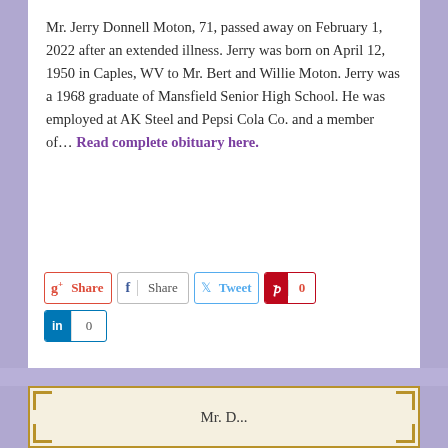Mr. Jerry Donnell Moton, 71, passed away on February 1, 2022 after an extended illness. Jerry was born on April 12, 1950 in Caples, WV to Mr. Bert and Willie Moton. Jerry was a 1968 graduate of Mansfield Senior High School. He was employed at AK Steel and Pepsi Cola Co. and a member of… Read complete obituary here.
Mr. D...